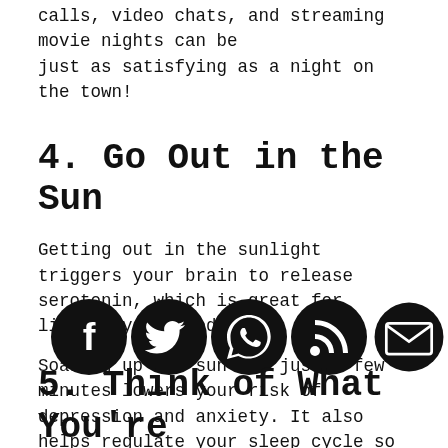calls, video chats, and streaming movie nights can be just as satisfying as a night on the town!
4. Go Out in the Sun
Getting out in the sunlight triggers your brain to release serotonin, which is great for lifting your mood.
Soaking up the sun for just a few minutes lowers your risk of depression and anxiety. It also helps regulate your sleep cycle so that you can rest better.
Go ahead and step outside on your balcony, walk around your backyard, or take a jog down the street. It's good to get outside when you're feeling stir crazy. Let the sun warm you up, even if it's not for long.
[Figure (infographic): Row of five black circular social media icon buttons: Facebook, Twitter, WhatsApp, RSS, and Email]
5. Think of What You're